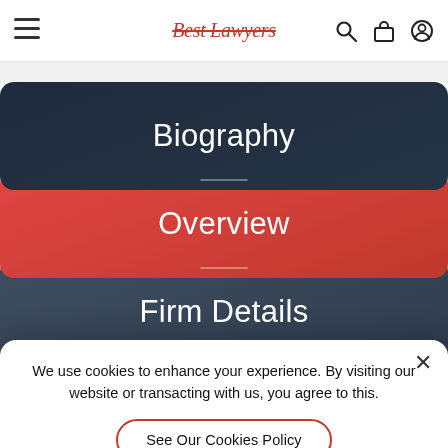Best Lawyers
Biography
Overview
Firm Details
We use cookies to enhance your experience. By visiting our website or transacting with us, you agree to this.
See Our Cookies Policy